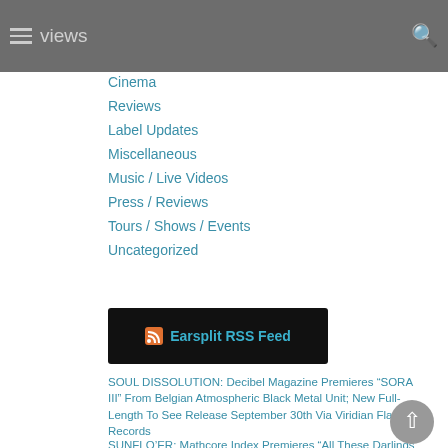Cinema | Reviews | Label Updates | Miscellaneous | Music / Live Videos | Press / Reviews | Tours / Shows / Events | Uncategorized
Cinema
Reviews
Label Updates
Miscellaneous
Music / Live Videos
Press / Reviews
Tours / Shows / Events
Uncategorized
[Figure (other): Earsplit RSS Feed widget with orange RSS icon on black background]
SOUL DISSOLUTION: Decibel Magazine Premieres “SORA III” From Belgian Atmospheric Black Metal Unit; New Full-Length To See Release September 30th Via Viridian Flame Records
SUNFLO’ER: Mathcore Index Premieres “All These Darlings And Now Me” Video From Experimental Hardcore Outfit; Band Announces US/Canada Mini-Tour